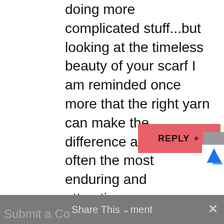doing more complicated stuff...but looking at the timeless beauty of your scarf I am reminded once more that the right yarn can make the difference and plain is often the most enduring and attractive.
REPLY ○
Submit a Comment  Share This ∨  ×